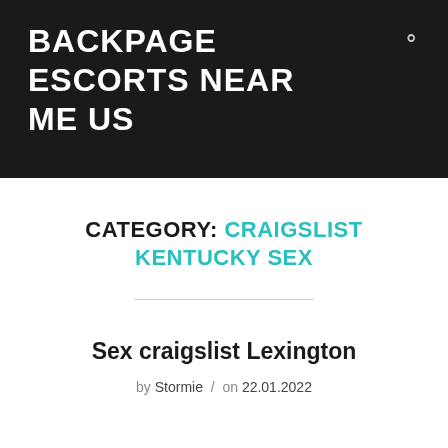BACKPAGE ESCORTS NEAR ME US
CATEGORY: CRAIGSLIST KENTUCKY SEX
Sex craigslist Lexington
by Stormie / on 22.01.2022